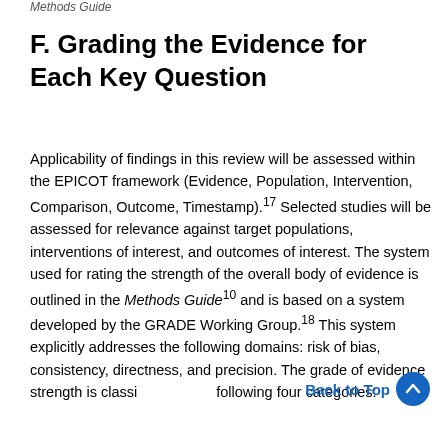Methods Guide
F. Grading the Evidence for Each Key Question
Applicability of findings in this review will be assessed within the EPICOT framework (Evidence, Population, Intervention, Comparison, Outcome, Timestamp).17 Selected studies will be assessed for relevance against target populations, interventions of interest, and outcomes of interest. The system used for rating the strength of the overall body of evidence is outlined in the Methods Guide10 and is based on a system developed by the GRADE Working Group.18 This system explicitly addresses the following domains: risk of bias, consistency, directness, and precision. The grade of evidence strength is classi following four categories: